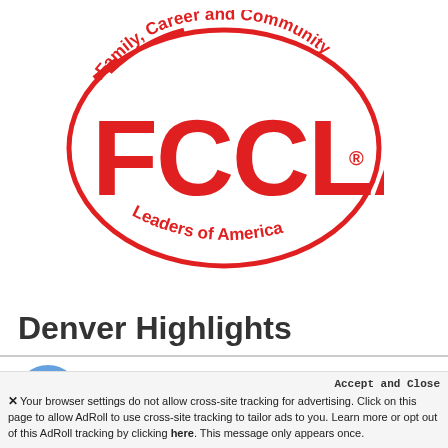[Figure (logo): FCCLA logo — Family, Career and Community Leaders of America — red oval with FCCLA lettering and arrow]
Denver Highlights
Accept and Close
✕ Your browser settings do not allow cross-site tracking for advertising. Click on this page to allow AdRoll to use cross-site tracking to tailor ads to you. Learn more or opt out of this AdRoll tracking by clicking here. This message only appears once.